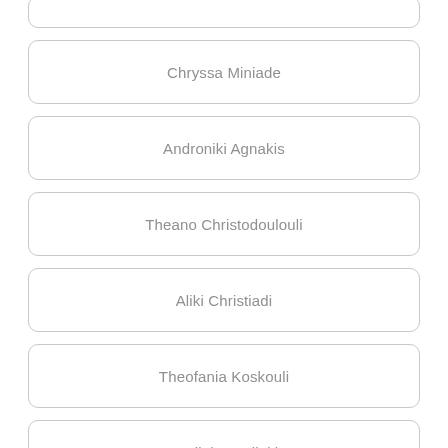Chryssa Miniade
Androniki Agnakis
Theano Christodoulouli
Aliki Christiadi
Theofania Koskouli
Vasileia Vasilaki